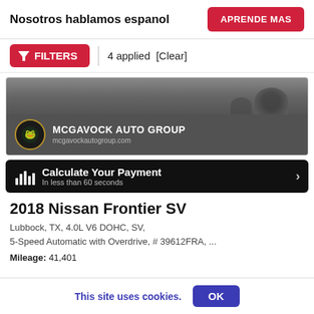Nosotros hablamos espanol
APRENDE MAS
FILTERS  4 applied  [Clear]
[Figure (photo): McGavock Auto Group dealer advertisement banner with logo and website mcgavockautogroup.com]
Calculate Your Payment
In less than 60 seconds
2018 Nissan Frontier SV
Lubbock, TX, 4.0L V6 DOHC, SV,
5-Speed Automatic with Overdrive, # 39612FRA, ...
Mileage: 41,401
This site uses cookies.
OK